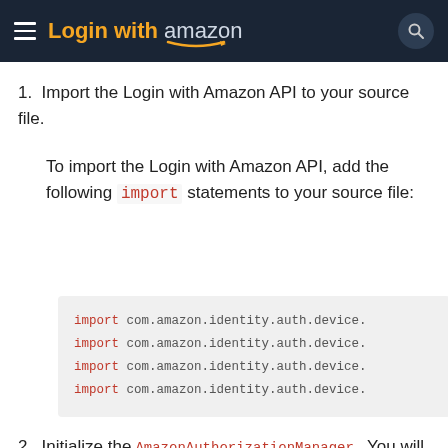Login with amazon
1. Import the Login with Amazon API to your source file.
To import the Login with Amazon API, add the following import statements to your source file:
[Figure (screenshot): Code block showing four import statements: import com.amazon.identity.auth.device... (four lines)]
2. Initialize the AmazonAuthorizationManager. You will